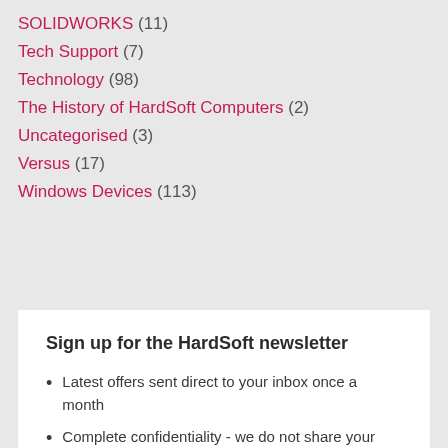SOLIDWORKS (11)
Tech Support (7)
Technology (98)
The History of HardSoft Computers (2)
Uncategorised (3)
Versus (17)
Windows Devices (113)
Sign up for the HardSoft newsletter
Latest offers sent direct to your inbox once a month
Complete confidentiality - we do not share your